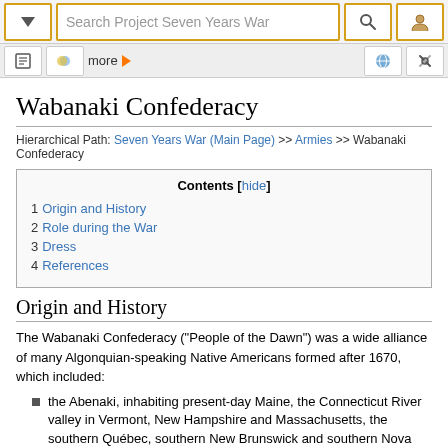Search Project Seven Years War
Wabanaki Confederacy
Hierarchical Path: Seven Years War (Main Page) >> Armies >> Wabanaki Confederacy
| Contents |
| --- |
| 1 Origin and History |
| 2 Role during the War |
| 3 Dress |
| 4 References |
Origin and History
The Wabanaki Confederacy ("People of the Dawn") was a wide alliance of many Algonquian-speaking Native Americans formed after 1670, which included:
the Abenaki, inhabiting present-day Maine, the Connecticut River valley in Vermont, New Hampshire and Massachusetts, the southern Québec, southern New Brunswick and southern Nova Scotia; they numbered